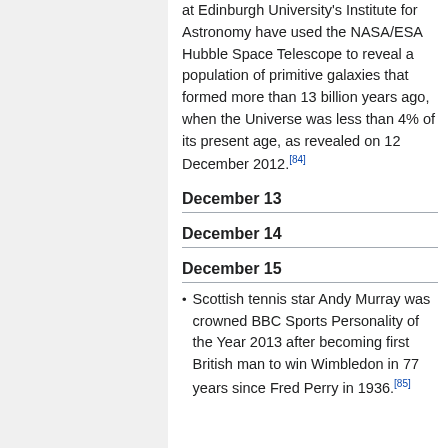at Edinburgh University's Institute for Astronomy have used the NASA/ESA Hubble Space Telescope to reveal a population of primitive galaxies that formed more than 13 billion years ago, when the Universe was less than 4% of its present age, as revealed on 12 December 2012.[84]
December 13
December 14
December 15
Scottish tennis star Andy Murray was crowned BBC Sports Personality of the Year 2013 after becoming first British man to win Wimbledon in 77 years since Fred Perry in 1936.[85]